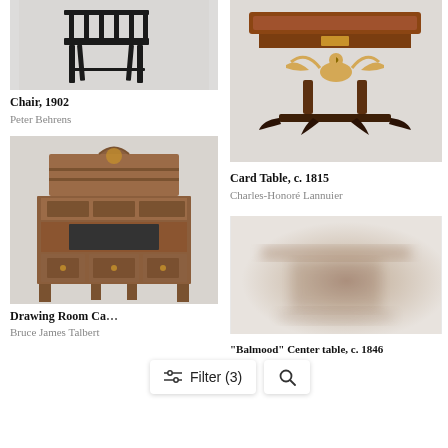[Figure (photo): Black wooden chair, 1902, viewed from side-front angle against light grey background]
Chair, 1902
Peter Behrens
[Figure (photo): Ornate wood and gilt card table circa 1815 with eagle/winged figure support, against light grey background]
Card Table, c. 1815
Charles-Honoré Lannuier
[Figure (photo): Elaborate Victorian drawing room cabinet/desk with carved Gothic arch top, inlaid wood, multiple drawers and shelves]
Drawing Room Ca...
Bruce James Talbert
[Figure (photo): Blurred or partially obscured image of a center table, Balmoral, c. 1846]
"Balmoral" Center table, c. 1846